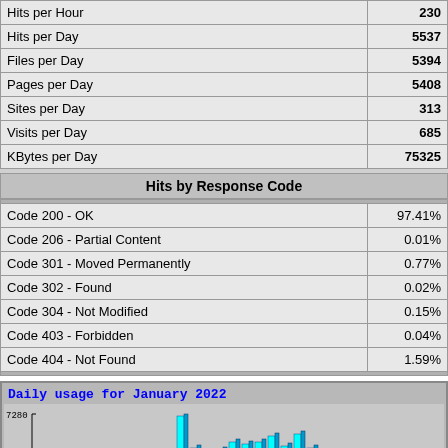| Metric | Value |
| --- | --- |
| Hits per Hour | 230 |
| Hits per Day | 5537 |
| Files per Day | 5394 |
| Pages per Day | 5408 |
| Sites per Day | 313 |
| Visits per Day | 685 |
| KBytes per Day | 75325 |
Hits by Response Code
| Code | Percentage |
| --- | --- |
| Code 200 - OK | 97.41% |
| Code 206 - Partial Content | 0.01% |
| Code 301 - Moved Permanently | 0.77% |
| Code 302 - Found | 0.02% |
| Code 304 - Not Modified | 0.15% |
| Code 403 - Forbidden | 0.04% |
| Code 404 - Not Found | 1.59% |
[Figure (bar-chart): Bar chart showing daily usage for January 2022 with cyan/blue bars, y-axis label showing 7280]